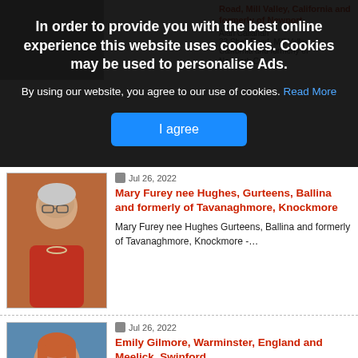[Figure (photo): Partially visible background page with obituary listings and photos]
In order to provide you with the best online experience this website uses cookies. Cookies may be used to personalise Ads.
By using our website, you agree to our use of cookies. Read More
I agree
[Figure (photo): Photo of Mary Furey nee Hughes, elderly woman with gray hair and glasses wearing red top]
Jul 26, 2022
Mary Furey nee Hughes, Gurteens, Ballina and formerly of Tavanaghmore, Knockmore
Mary Furey nee Hughes Gurteens, Ballina and formerly of Tavanaghmore, Knockmore -…
[Figure (photo): Partial photo of Emily Gilmore, woman with reddish hair]
Jul 26, 2022
Emily Gilmore, Warminster, England and Meelick, Swinford